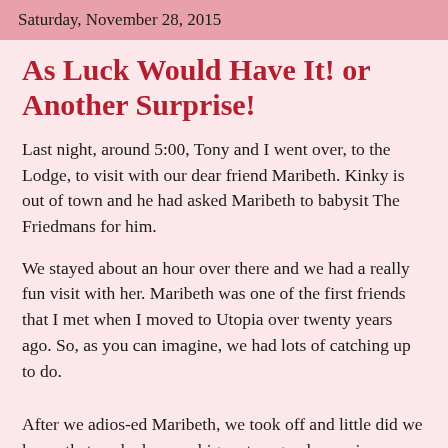Saturday, November 28, 2015
As Luck Would Have It! or Another Surprise!
Last night, around 5:00, Tony and I went over, to the Lodge, to visit with our dear friend Maribeth. Kinky is out of town and he had asked Maribeth to babysit The Friedmans for him.
We stayed about an hour over there and we had a really fun visit with her. Maribeth was one of the first friends that I met when I moved to Utopia over twenty years ago. So, as you can imagine, we had lots of catching up to do.
After we adios-ed Maribeth, we took off and little did we know that we had a very big, not so good, surprise waiting for us, at the rescue ranch.
In the hour that we had been away from the rescue ranch, a gigantic, dead cedar tree, inside Miranda's pen, had uprooted and